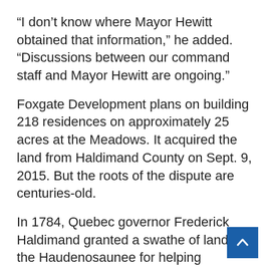“I don’t know where Mayor Hewitt obtained that information,” he added. “Discussions between our command staff and Mayor Hewitt are ongoing.”
Foxgate Development plans on building 218 residences on approximately 25 acres at the Meadows. It acquired the land from Haldimand County on Sept. 9, 2015. But the roots of the dispute are centuries-old.
In 1784, Quebec governor Frederick Haldimand granted a swathe of land to the Haudenosaunee for helping England during the American War of Independence.
The Haudenosaunee fought as allies of the British under political and military leader Thayendaneg… (Joseph Brant), who selected the Grand River,